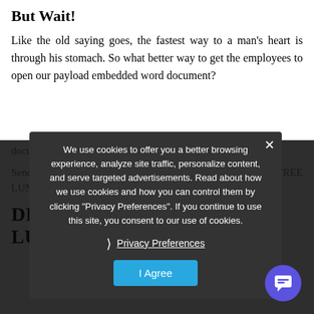But Wait!
Like the old saying goes, the fastest way to a man's heart is through his stomach. So what better way to get the employees to open our payload embedded word document?
Send them an email – telling them there is a change in the FREE LUNCH menu starting from tomorrow.
DID YOU JUST SAY FREE LUNCH?
[Figure (screenshot): Cookie consent popup overlay on dark background reading: We use cookies to offer you a better browsing experience, analyze site traffic, personalize content, and serve targeted advertisements. Read about how we use cookies and how you can control them by clicking "Privacy Preferences". If you continue to use this site, you consent to our use of cookies. With a Privacy Preferences link and I Agree button.]